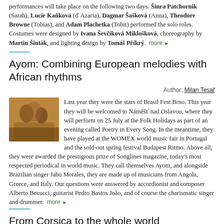performances will take place on the following two days. Šinra Patchornik (Sarah), Lucie Kaňková (ď Azaria), Dagmar Šašková (Anna), Theodore Browne (Tobias), and Adam Plachetka (Tobit) performed the solo roles. Costumes were designed by Ivana Ševčíková Miklošková, choreography by Martin Šinták, and lighting design by Tomáš Příkrý. more ▶
Ayom: Combining European melodies with African rhythms
Author: Milan Tesař
[Figure (photo): Photo of the Ayom music group performing]
Last year they were the stars of Brasil Fest Brno. This year they will be welcomed to Náměšť nad Oslavou, where they will perform on 25 July at the Folk Holidays as part of an evening called Poetry in Every Song. In the meantime, they have played at the WOMEX world music fair in Portugal and the sold-out spring festival Budapest Ritmo. Above all, they were awarded the prestigious prize of Songlines magazine, today's most respected periodical in world music. They call themselves Ayom, and alongside Brazilian singer Jabu Morales, they are made up of musicians from Angola, Greece, and Italy. Our questions were answered by accordionist and composer Alberto Becucci, guitarist Pedro Bastos João, and of course the charismatic singer and drummer. more ▶
From Corsica to the whole world
Author: Milan Tesař
[Figure (photo): Photo of the group L'Alba from Corsica]
On Friday, 29 July, at the Folk Holidays in Náměšť nad Oslavou, the group L'Alba from Corsica will perform, combining traditional Mediterranean polyphony with the music of many nations, not only